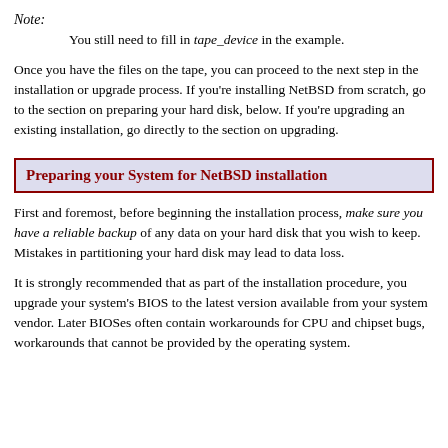Note: You still need to fill in tape_device in the example.
Once you have the files on the tape, you can proceed to the next step in the installation or upgrade process. If you're installing NetBSD from scratch, go to the section on preparing your hard disk, below. If you're upgrading an existing installation, go directly to the section on upgrading.
Preparing your System for NetBSD installation
First and foremost, before beginning the installation process, make sure you have a reliable backup of any data on your hard disk that you wish to keep. Mistakes in partitioning your hard disk may lead to data loss.
It is strongly recommended that as part of the installation procedure, you upgrade your system's BIOS to the latest version available from your system vendor. Later BIOSes often contain workarounds for CPU and chipset bugs, workarounds that cannot be provided by the operating system.